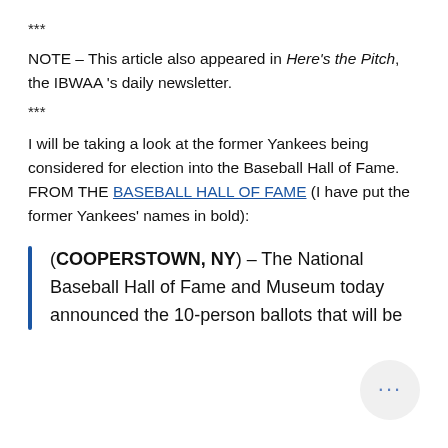***
NOTE – This article also appeared in Here's the Pitch, the IBWAA 's daily newsletter.
***
I will be taking a look at the former Yankees being considered for election into the Baseball Hall of Fame. FROM THE BASEBALL HALL OF FAME (I have put the former Yankees' names in bold):
(COOPERSTOWN, NY) – The National Baseball Hall of Fame and Museum today announced the 10-person ballots that will be